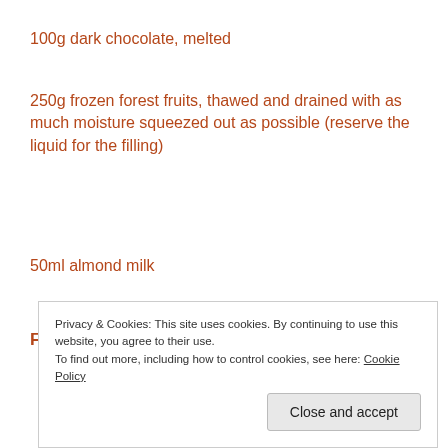100g dark chocolate, melted
250g frozen forest fruits, thawed and drained with as much moisture squeezed out as possible (reserve the liquid for the filling)
50ml almond milk
For the compote filling:
Privacy & Cookies: This site uses cookies. By continuing to use this website, you agree to their use.
To find out more, including how to control cookies, see here: Cookie Policy
Close and accept